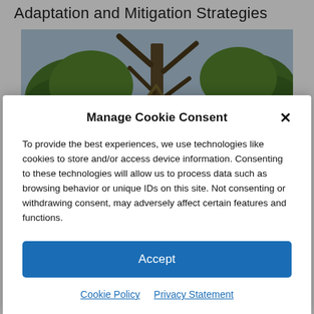Adaptation and Mitigation Strategies
[Figure (photo): Photograph of trees with broken and damaged branches against a hazy sky, with green foliage visible.]
Manage Cookie Consent
To provide the best experiences, we use technologies like cookies to store and/or access device information. Consenting to these technologies will allow us to process data such as browsing behavior or unique IDs on this site. Not consenting or withdrawing consent, may adversely affect certain features and functions.
Accept
Cookie Policy   Privacy Statement